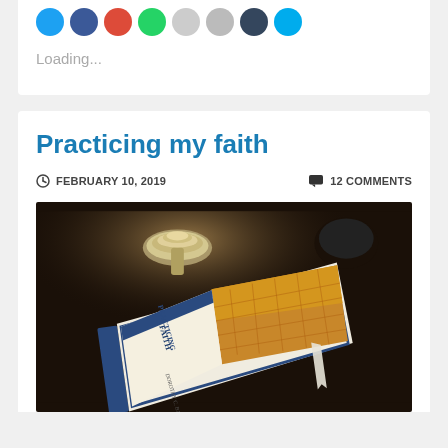[Figure (other): Row of colorful social sharing icon circles (blue, dark blue, red, green, gray, gray, dark blue, teal)]
Loading...
Practicing my faith
FEBRUARY 10, 2019    💬 12 COMMENTS
[Figure (photo): Photo of a book titled 'Practicing the Faith' by Dorothy C. Bass, lying on a dark table next to a silver lamp base. The book cover features a pineapple image.]